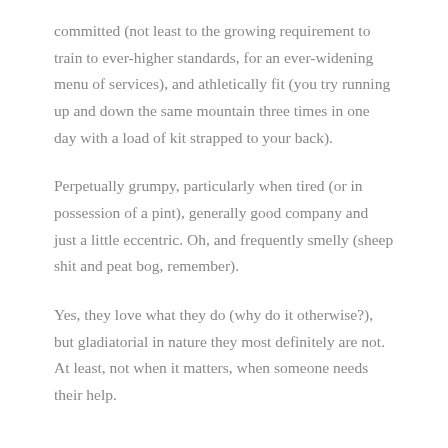committed (not least to the growing requirement to train to ever-higher standards, for an ever-widening menu of services), and athletically fit (you try running up and down the same mountain three times in one day with a load of kit strapped to your back).
Perpetually grumpy, particularly when tired (or in possession of a pint), generally good company and just a little eccentric. Oh, and frequently smelly (sheep shit and peat bog, remember).
Yes, they love what they do (why do it otherwise?), but gladiatorial in nature they most definitely are not. At least, not when it matters, when someone needs their help.